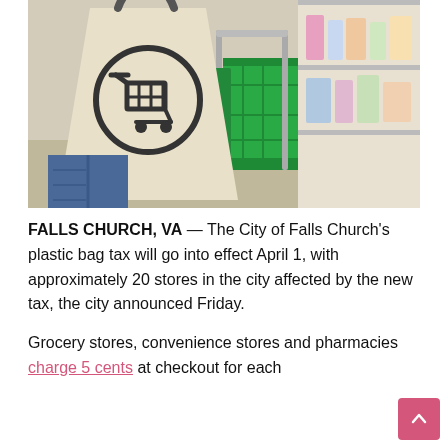[Figure (photo): A person holding a canvas tote bag with a shopping cart icon printed on it in a circle, next to green shopping baskets in a grocery store aisle.]
FALLS CHURCH, VA — The City of Falls Church's plastic bag tax will go into effect April 1, with approximately 20 stores in the city affected by the new tax, the city announced Friday.
Grocery stores, convenience stores and pharmacies charge 5 cents at checkout for each plastic bag used. Retailers that have...